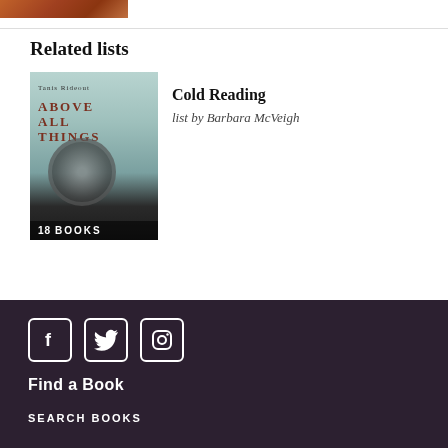[Figure (photo): Partial book cover image at top, reddish-brown tones]
Related lists
[Figure (photo): Book cover: Above All Things by Tanis Rideout, with badge '18 BOOKS']
Cold Reading
list by Barbara McVeigh
Social media icons (Facebook, Twitter, Instagram), Find a Book, SEARCH BOOKS